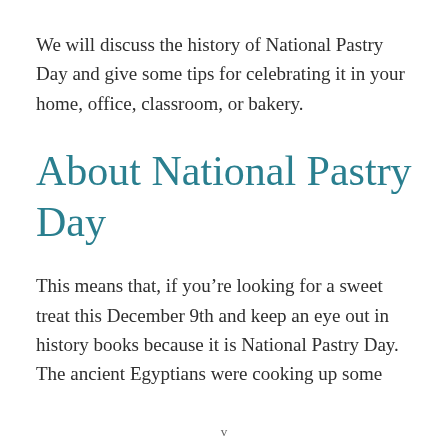We will discuss the history of National Pastry Day and give some tips for celebrating it in your home, office, classroom, or bakery.
About National Pastry Day
This means that, if you’re looking for a sweet treat this December 9th and keep an eye out in history books because it is National Pastry Day. The ancient Egyptians were cooking up some
v